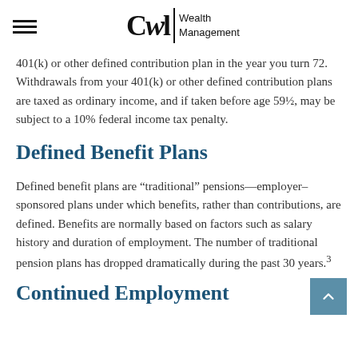CWl Wealth Management
401(k) or other defined contribution plan in the year you turn 72. Withdrawals from your 401(k) or other defined contribution plans are taxed as ordinary income, and if taken before age 59½, may be subject to a 10% federal income tax penalty.
Defined Benefit Plans
Defined benefit plans are “traditional” pensions—employer–sponsored plans under which benefits, rather than contributions, are defined. Benefits are normally based on factors such as salary history and duration of employment. The number of traditional pension plans has dropped dramatically during the past 30 years.3
Continued Employment